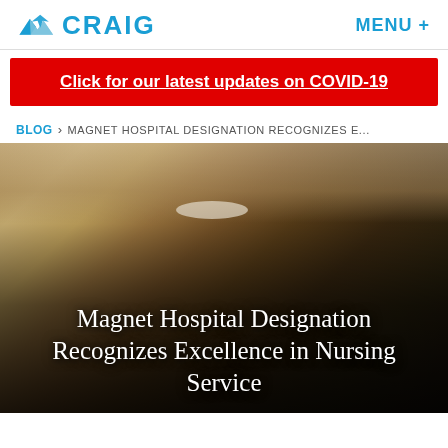CRAIG   MENU +
Click for our latest updates on COVID-19
BLOG › MAGNET HOSPITAL DESIGNATION RECOGNIZES E...
[Figure (photo): Group photo of nurses and staff celebrating in an indoor room, with warm lighting. Text overlay reads: Magnet Hospital Designation Recognizes Excellence in Nursing Service]
Magnet Hospital Designation Recognizes Excellence in Nursing Service